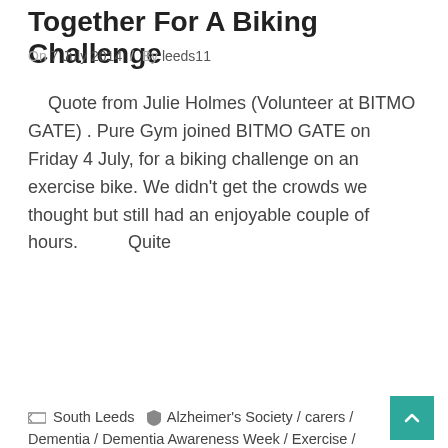Together For A Biking Challenge
On 7 July 2014 / By leeds11
Quote from Julie Holmes (Volunteer at BITMO GATE) . Pure Gym joined BITMO GATE on Friday 4 July, for a biking challenge on an exercise bike. We didn't get the crowds we thought but still had an enjoyable couple of hours.        Quite
continue reading »
South Leeds  Alzheimer's Society / carers / Dementia / Dementia Awareness Week / Exercise / healthy eating / Help / Ripaljeet Kaur / Touchstone
Top Tips For Caring For Someone